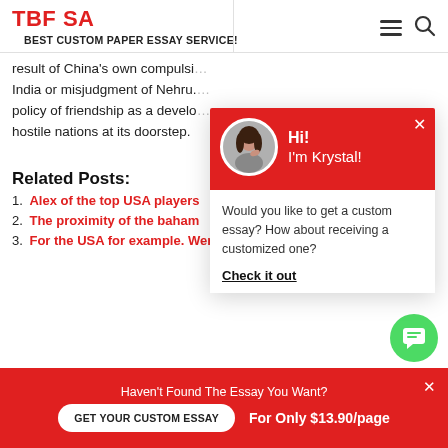TBF SA | BEST CUSTOM PAPER ESSAY SERVICE!
result of China's own compulsion India or misjudgment of Nehru. policy of friendship as a development hostile nations at its doorstep.
Related Posts:
1. Alex of the top USA players
2. The proximity of the bahan
3. For the USA for example. Were we
[Figure (screenshot): Chat popup with avatar image of a woman, red header with 'Hi! I'm Krystal!', message 'Would you like to get a custom essay? How about receiving a customized one?' and 'Check it out' CTA link]
Haven't Found The Essay You Want? GET YOUR CUSTOM ESSAY For Only $13.90/page